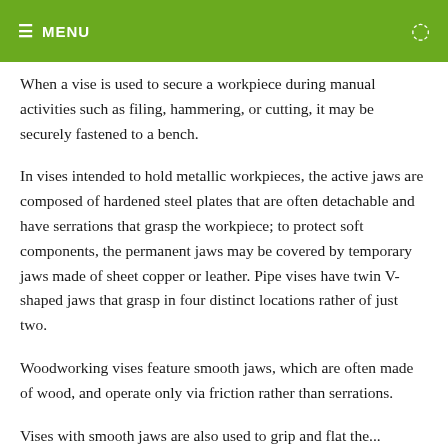≡ MENU
When a vise is used to secure a workpiece during manual activities such as filing, hammering, or cutting, it may be securely fastened to a bench.
In vises intended to hold metallic workpieces, the active jaws are composed of hardened steel plates that are often detachable and have serrations that grasp the workpiece; to protect soft components, the permanent jaws may be covered by temporary jaws made of sheet copper or leather. Pipe vises have twin V-shaped jaws that grasp in four distinct locations rather of just two.
Woodworking vises feature smooth jaws, which are often made of wood, and operate only via friction rather than serrations.
Vises with smooth jaws are also used to grip and flat the...